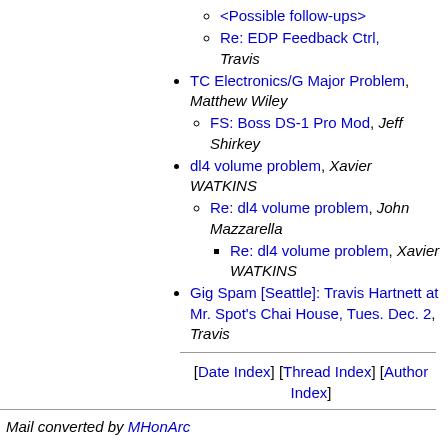<Possible follow-ups>
Re: EDP Feedback Ctrl, Travis
TC Electronics/G Major Problem, Matthew Wiley
FS: Boss DS-1 Pro Mod, Jeff Shirkey
dl4 volume problem, Xavier WATKINS
Re: dl4 volume problem, John Mazzarella
Re: dl4 volume problem, Xavier WATKINS
Gig Spam [Seattle]: Travis Hartnett at Mr. Spot's Chai House, Tues. Dec. 2, Travis
[Date Index] [Thread Index] [Author Index]
Mail converted by MHonArc